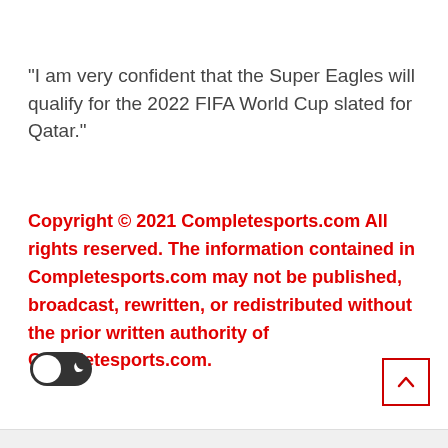“I am very confident that the Super Eagles will qualify for the 2022 FIFA World Cup slated for Qatar.”
Copyright © 2021 Completesports.com All rights reserved. The information contained in Completesports.com may not be published, broadcast, rewritten, or redistributed without the prior written authority of Completesports.com.
[Figure (other): Dark mode toggle switch (off position with moon icon) and scroll-to-top button with upward arrow in red border]